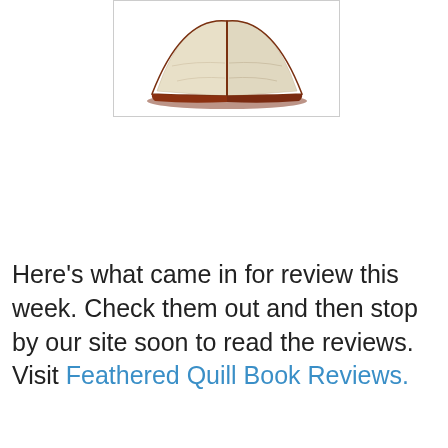[Figure (illustration): An open book illustration with cream/beige pages and a brown/dark red cover, shown at a slight angle from above.]
Here's what came in for review this week. Check them out and then stop by our site soon to read the reviews.  Visit Feathered Quill Book Reviews.